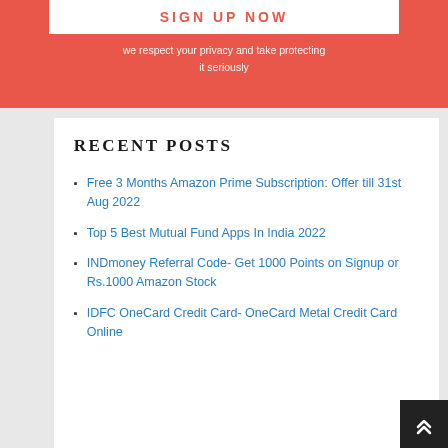SIGN UP NOW
we respect your privacy and take protecting it seriously
RECENT POSTS
Free 3 Months Amazon Prime Subscription: Offer till 31st Aug 2022
Top 5 Best Mutual Fund Apps In India 2022
INDmoney Referral Code- Get 1000 Points on Signup or Rs.1000 Amazon Stock
IDFC OneCard Credit Card- OneCard Metal Credit Card Online